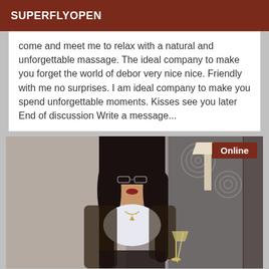SUPERFLYOPEN
come and meet me to relax with a natural and unforgettable massage. The ideal company to make you forget the world of debor very nice nice. Friendly with me no surprises. I am ideal company to make you spend unforgettable moments. Kisses see you later End of discussion Write a message...
[Figure (photo): Woman with long dark hair, wearing a white bra top and lace sleeves, holding a champagne glass, posing indoors. An 'Online' badge appears in the top right corner of the image.]